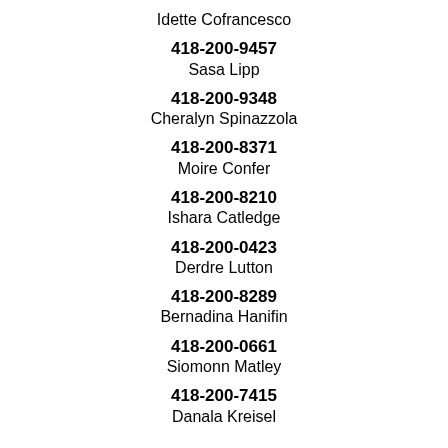Idette Cofrancesco
418-200-9457
Sasa Lipp
418-200-9348
Cheralyn Spinazzola
418-200-8371
Moire Confer
418-200-8210
Ishara Catledge
418-200-0423
Derdre Lutton
418-200-8289
Bernadina Hanifin
418-200-0661
Siomonn Matley
418-200-7415
Danala Kreisel